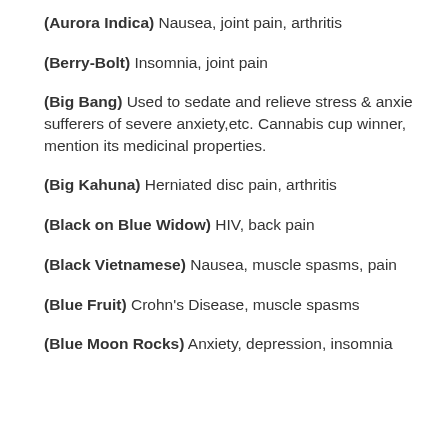(Aurora Indica) Nausea, joint pain, arthritis
(Berry-Bolt) Insomnia, joint pain
(Big Bang) Used to sedate and relieve stress & anxiety, sufferers of severe anxiety,etc.  Cannabis cup winner, mention its medicinal properties.
(Big Kahuna) Herniated disc pain, arthritis
(Black on Blue Widow) HIV, back pain
(Black Vietnamese) Nausea, muscle spasms, pain
(Blue Fruit) Crohn's Disease, muscle spasms
(Blue Moon Rocks) Anxiety, depression, insomnia